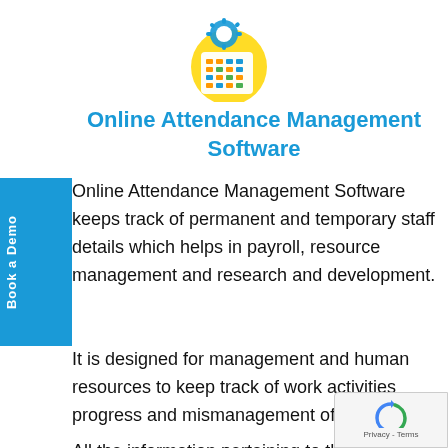[Figure (illustration): Colorful calendar/attendance management software icon with orange and teal grid dots on a yellow circle background]
Online Attendance Management Software
Online Attendance Management Software keeps track of permanent and temporary staff details which helps in payroll, resource management and research and development.
It is designed for management and human resources to keep track of work activities progress and mismanagement of resources.
All the information pertaining to the attendance is obtained from timesheet software and the